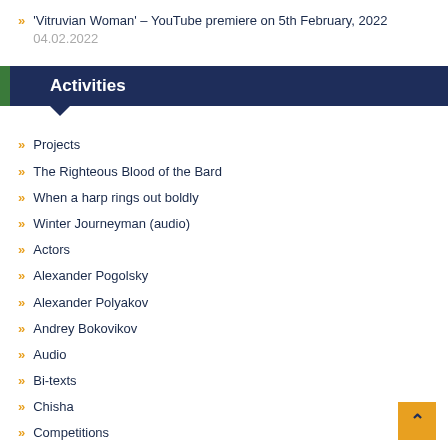'Vitruvian Woman' – YouTube premiere on 5th February, 2022 04.02.2022
Activities
Projects
The Righteous Blood of the Bard
When a harp rings out boldly
Winter Journeyman (audio)
Actors
Alexander Pogolsky
Alexander Polyakov
Andrey Bokovikov
Audio
Bi-texts
Chisha
Competitions